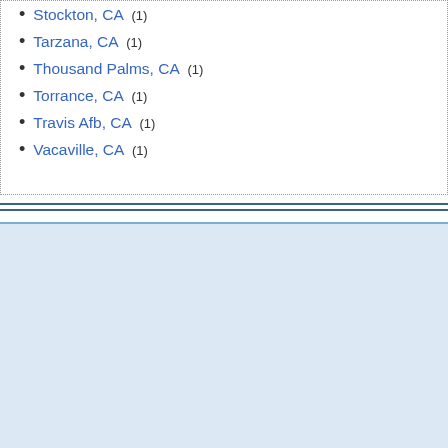Stockton, CA (1)
Tarzana, CA (1)
Thousand Palms, CA (1)
Torrance, CA (1)
Travis Afb, CA (1)
Vacaville, CA (1)